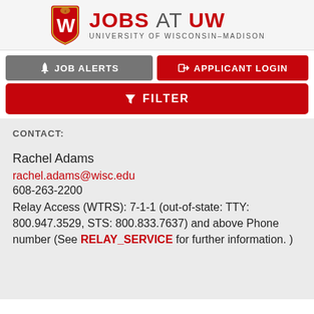[Figure (logo): Jobs at UW – University of Wisconsin–Madison logo with red shield W and text]
[Figure (other): Job Alerts button (grey) and Applicant Login button (red)]
[Figure (other): Filter button (red)]
CONTACT:
Rachel Adams
rachel.adams@wisc.edu
608-263-2200
Relay Access (WTRS): 7-1-1 (out-of-state: TTY: 800.947.3529, STS: 800.833.7637) and above Phone number (See RELAY_SERVICE for further information. )